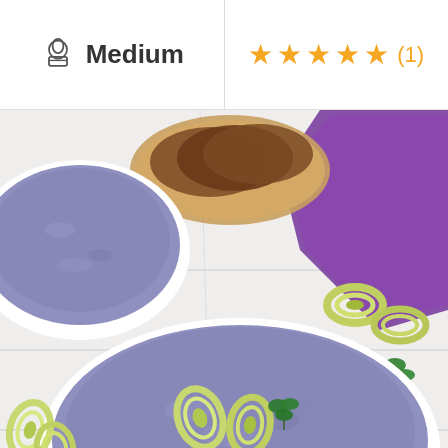[Figure (other): Chef hat icon next to 'Medium' difficulty label on left side of header]
Medium
[Figure (other): Five gold star rating with (1) review count on right side of header]
[Figure (photo): Overhead food photo showing two white bowls filled with purple/blue blended soup garnished with leek rings and parsley, a wooden board with sliced dark bread, a purple cloth napkin, and leek rings on a white wooden surface]